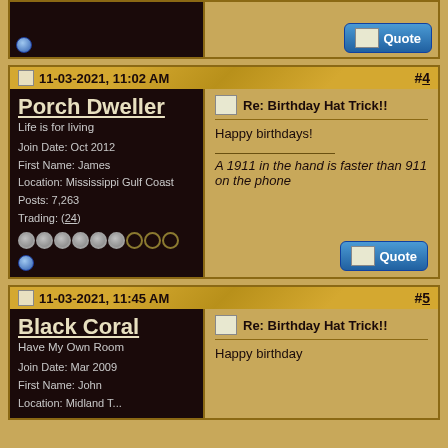11-03-2021, 11:02 AM
#4
Porch Dweller
Life is for living
Join Date: Oct 2012
First Name: James
Location: Mississippi Gulf Coast
Posts: 7,263
Trading: (24)
Re: Birthday Hat Trick!!
Happy birthdays!
A 1911 in the hand is faster than 911 on the phone
11-03-2021, 11:45 AM
#5
Black Coral
Have My Own Room
Join Date: Mar 2009
First Name: John
Location: Midland T...
Re: Birthday Hat Trick!!
Happy birthday